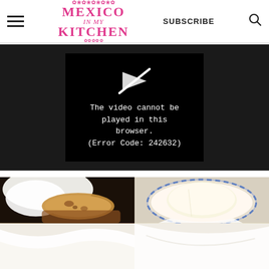SUBSCRIBE | Mexico In My Kitchen
[Figure (screenshot): Video player showing error message: The video cannot be played in this browser. (Error Code: 242632)]
[Figure (photo): Food photography showing tortillas in a basket with white cloth, and a round white cheese on a blue and white plate, with additional items below]